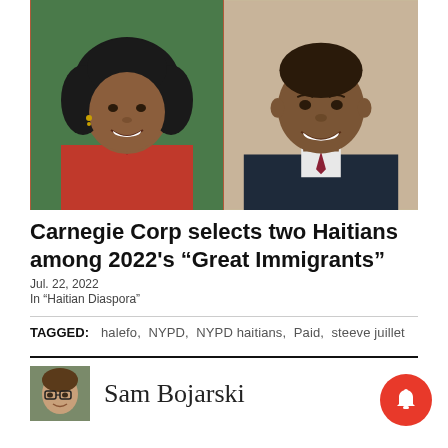[Figure (photo): Two portrait photos side by side: left is a woman with curly hair wearing a red top; right is a man in a dark suit with a tie.]
Carnegie Corp selects two Haitians among 2022's “Great Immigrants”
Jul. 22, 2022
In “Haitian Diaspora”
TAGGED:   halefo,  NYPD,  NYPD haitians,  Paid,  steeve juillet
[Figure (photo): Small portrait photo of Sam Bojarski.]
Sam Bojarski